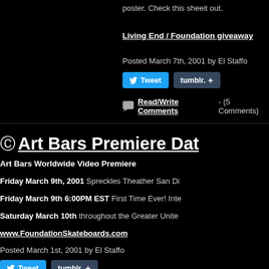poster. Check this sheeit out.
Living End / Foundation giveaway
Posted March 7th, 2001 by El Staffo
Read/Write Comments - (5 Comments)
Art Bars Premiere Dat...
Art Bars Worldwide Video Premiere
Friday March 9th, 2001 Spreckles Theather San Di...
Friday March 9th 6:00PM EST First Time Ever! Inte...
Saturday March 10th throughout the Greater Unite...
www.FoundationSkateboards.com
Posted March 1st, 2001 by El Staffo
Read/Write Comments - (3 Comments)